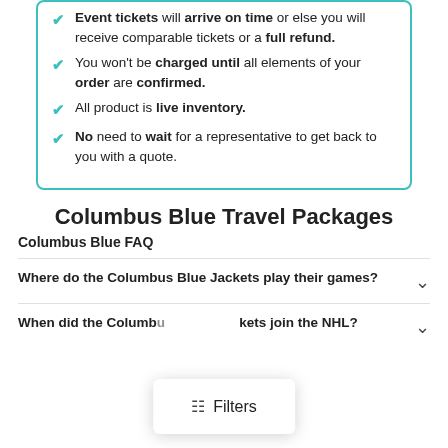Event tickets will arrive on time or else you will receive comparable tickets or a full refund.
You won't be charged until all elements of your order are confirmed.
All product is live inventory.
No need to wait for a representative to get back to you with a quote.
Columbus Blue Travel Packages
Columbus Blue FAQ
Where do the Columbus Blue Jackets play their games?
When did the Columbus Blue Jackets join the NHL?
Filters